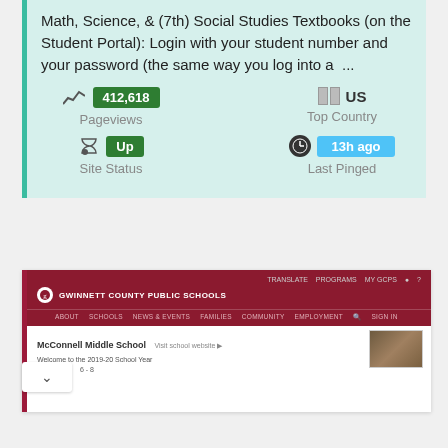Math, Science, & (7th) Social Studies Textbooks (on the Student Portal): Login with your student number and your password (the same way you log into a  ...
[Figure (infographic): Website stats showing Pageviews: 412,618 (green badge), Top Country: US (flag icon), Site Status: Up (green badge), Last Pinged: 13h ago (blue badge)]
[Figure (screenshot): Screenshot of Gwinnett County Public Schools website showing McConnell Middle School page with dark red header navigation and school building photo]